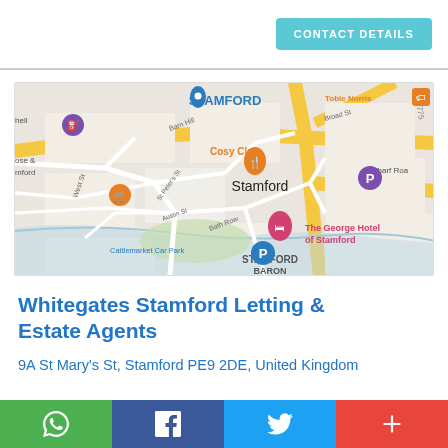CONTACT DETAILS
[Figure (map): Google Maps screenshot showing Stamford town centre with The George Hotel of Stamford highlighted, surrounding streets including West St, Bath Row, Barn Hill, Broad St, St Peter's St, Austin St, Cattlemarket Car Park, Wharf Road, and nearby landmarks Tobie Norris, Cosy Club, and STAMFORD BARON area.]
Whitegates Stamford Letting & Estate Agents
9A St Mary's St, Stamford PE9 2DE, United Kingdom